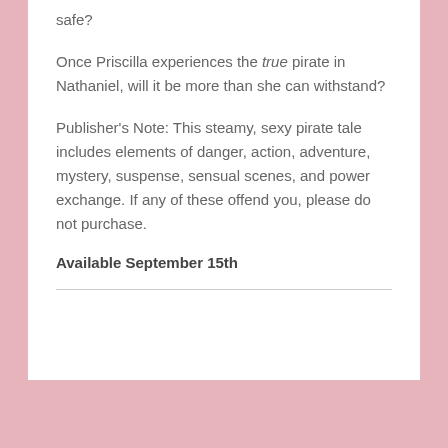safe?
Once Priscilla experiences the true pirate in Nathaniel, will it be more than she can withstand?
Publisher's Note: This steamy, sexy pirate tale includes elements of danger, action, adventure, mystery, suspense, sensual scenes, and power exchange. If any of these offend you, please do not purchase.
Available September 15th